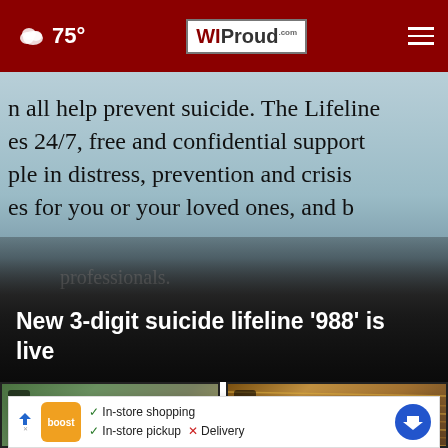75° WIProud.com
[Figure (screenshot): Hero image showing text about suicide prevention lifeline, partially visible: 'n all help prevent suicide. The Lifeline es 24/7, free and confidential support ple in distress, prevention and crisis es for you or your loved ones, and professionals.']
New 3-digit suicide lifeline '988' is live
[Figure (screenshot): Video thumbnail showing COVID-19 testing site with orange traffic cones and a sign reading 'COVID-19 TESTING']
[Figure (screenshot): Video thumbnail showing a warehouse or large indoor structure with wooden framing and dramatic lighting]
In-store shopping
In-store pickup × Delivery